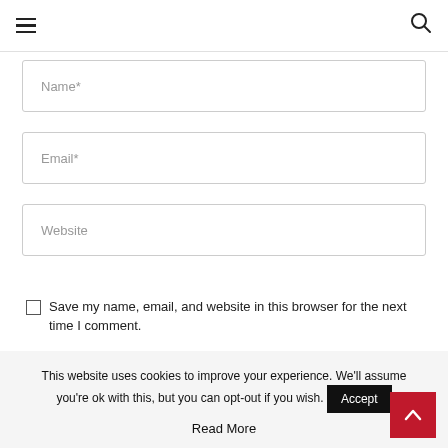Navigation bar with hamburger menu and search icon
Name*
Email*
Website
Save my name, email, and website in this browser for the next time I comment.
Sign me up for the newsletter!
This website uses cookies to improve your experience. We'll assume you're ok with this, but you can opt-out if you wish. Accept Read More